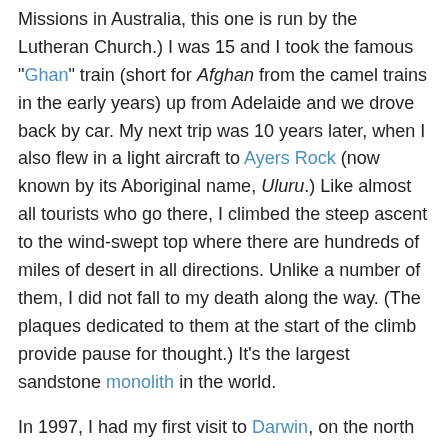Missions in Australia, this one is run by the Lutheran Church.) I was 15 and I took the famous "Ghan" train (short for Afghan from the camel trains in the early years) up from Adelaide and we drove back by car. My next trip was 10 years later, when I also flew in a light aircraft to Ayers Rock (now known by its Aboriginal name, Uluru.) Like almost all tourists who go there, I climbed the steep ascent to the wind-swept top where there are hundreds of miles of desert in all directions. Unlike a number of them, I did not fall to my death along the way. (The plaques dedicated to them at the start of the climb provide pause for thought.) It's the largest sandstone monolith in the world.
In 1997, I had my first visit to Darwin, on the north coast, a city that was devastated by Cyclone Tracy in 1974, but since rebuilt. From there, I drove to and camped with friends at Kakadu National Park, Crocodile Dundee country, and Litchfield National Park. Out there, you can be a long ways from anywhere! From Darwin, I flew south to Ayers Rock